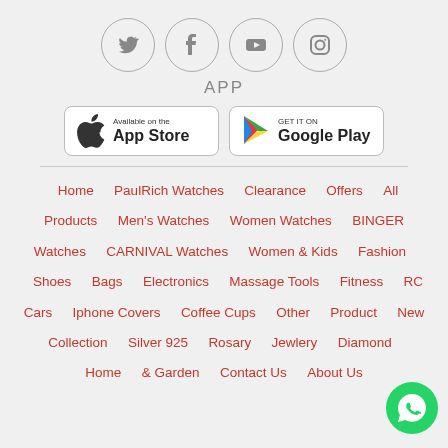[Figure (illustration): Four social media icons in circles: Twitter, Facebook, YouTube, Instagram]
APP
[Figure (illustration): App Store and Google Play download buttons]
Home
PaulRich Watches
Clearance Offers
All Products
Men's Watches
Women Watches
BINGER Watches
CARNIVAL Watches
Women & Kids
Fashion
Shoes
Bags
Electronics
Massage Tools
Fitness
RC Cars
Iphone Covers
Coffee Cups
Other Product
New Collection
Silver 925
Rosary
Jewlery
Diamond
Home & Garden
Contact Us
About Us